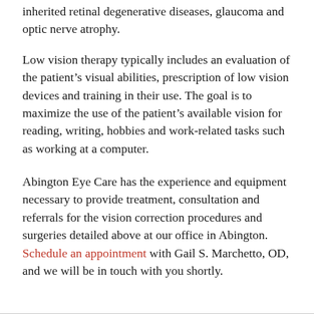inherited retinal degenerative diseases, glaucoma and optic nerve atrophy.
Low vision therapy typically includes an evaluation of the patient's visual abilities, prescription of low vision devices and training in their use. The goal is to maximize the use of the patient's available vision for reading, writing, hobbies and work-related tasks such as working at a computer.
Abington Eye Care has the experience and equipment necessary to provide treatment, consultation and referrals for the vision correction procedures and surgeries detailed above at our office in Abington. Schedule an appointment with Gail S. Marchetto, OD, and we will be in touch with you shortly.